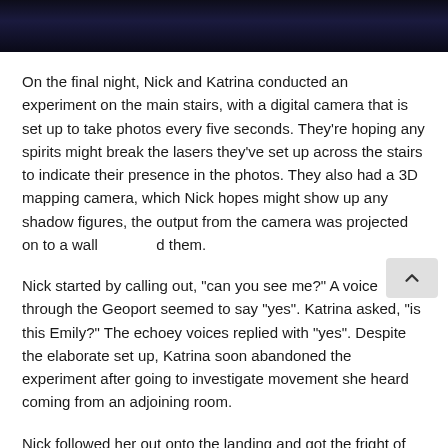[Figure (photo): Dark photo strip at the top of the page showing silhouettes of people in dim blue lighting]
On the final night, Nick and Katrina conducted an experiment on the main stairs, with a digital camera that is set up to take photos every five seconds. They're hoping any spirits might break the lasers they've set up across the stairs to indicate their presence in the photos. They also had a 3D mapping camera, which Nick hopes might show up any shadow figures, the output from the camera was projected on to a wall [scroll button] d them.
Nick started by calling out, "can you see me?" A voice through the Geoport seemed to say "yes". Katrina asked, "is this Emily?" The echoey voices replied with "yes". Despite the elaborate set up, Katrina soon abandoned the experiment after going to investigate movement she heard coming from an adjoining room.
Nick followed her out onto the landing and got the fright of his life when suddenly something fell to the floor with a bang near them. They then went to the bottom of the stairs in the house